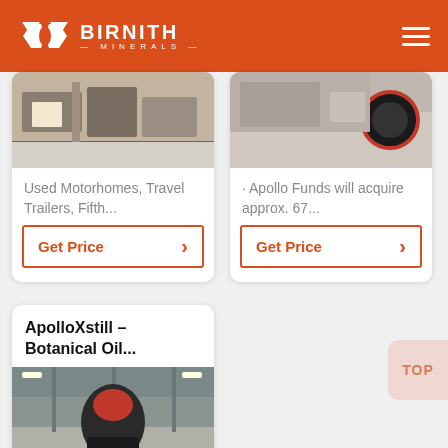BIRNITH MINERALS
[Figure (photo): Photo of motorhome or travel trailer equipment in a warehouse setting]
Used Motorhomes, Travel Trailers, Fifth...
Get Price
[Figure (photo): Photo of Apollo industrial equipment with red and black machinery]
· Apollo Funds will acquire approx. 67...
Get Price
ApolloXstill – Botanical Oil...
[Figure (photo): Photo of large industrial mill or botanical oil extraction machine in a factory]